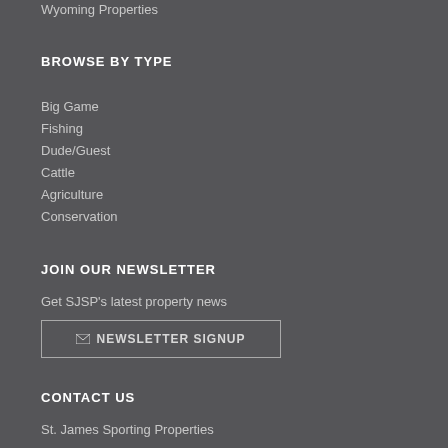Wyoming Properties
BROWSE BY TYPE
Big Game
Fishing
Dude/Guest
Cattle
Agriculture
Conservation
JOIN OUR NEWSLETTER
Get SJSP's latest property news
✉ NEWSLETTER SIGNUP
CONTACT US
St. James Sporting Properties